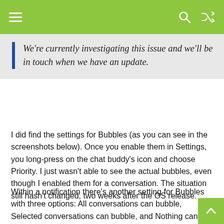[hamburger menu icon] [search icon] [shuffle icon]
We're currently investigating this issue and we'll be in touch when we have an update.
I did find the settings for Bubbles (as you can see in the screenshots below). Once you enable them in Settings, you long-press on the chat buddy's icon and choose Priority. I just wasn't able to see the actual bubbles, even though I enabled them for a conversation. The situation still hasn't changed, two weeks after the OS release.
Within a notification there's another setting for Bubbles with three options: All conversations can bubble, Selected conversations can bubble, and Nothing can bubble. Even with the first option, I didn't see the bubbles. I was able to use another new setting for message notifications: Priority (the other options are Default and Silent). This setting showed the text box over whatever else I was doing on-